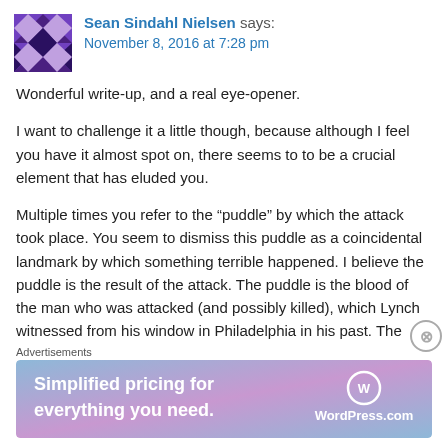Sean Sindahl Nielsen says: November 8, 2016 at 7:28 pm
Wonderful write-up, and a real eye-opener.
I want to challenge it a little though, because although I feel you have it almost spot on, there seems to to be a crucial element that has eluded you.
Multiple times you refer to the “puddle” by which the attack took place. You seem to dismiss this puddle as a coincidental landmark by which something terrible happened. I believe the puddle is the result of the attack. The puddle is the blood of the man who was attacked (and possibly killed), which Lynch witnessed from his window in Philadelphia in his past. The puddle was not
Advertisements
[Figure (screenshot): WordPress.com advertisement banner: 'Simplified pricing for everything you need.' with WordPress.com logo]